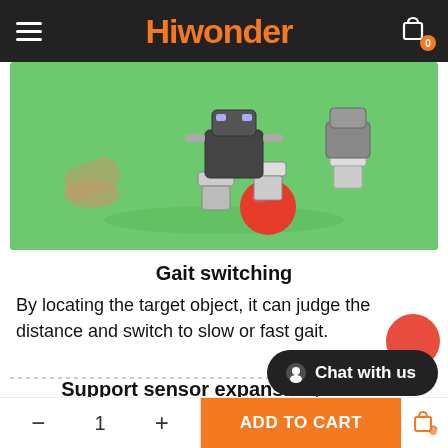Hiwonder
[Figure (photo): Robot legs kicking a red ball on a green background; a beige cylindrical object is blurred on the left]
Gait switching
By locating the target object, it can judge the distance and switch to slow or fast gait.
Support sensor expansion, Create more functions
[Figure (photo): Row of electronic sensor modules: a black square sensor, a dual-eye sensor, a small rectangular module, a tall slim sensor, and a partially visible sensor]